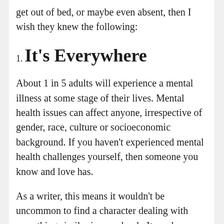get out of bed, or maybe even absent, then I wish they knew the following:
1. It's Everywhere
About 1 in 5 adults will experience a mental illness at some stage of their lives. Mental health issues can affect anyone, irrespective of gender, race, culture or socioeconomic background. If you haven't experienced mental health challenges yourself, then someone you know and love has.
As a writer, this means it wouldn't be uncommon to find a character dealing with something similar in your book. It can be your